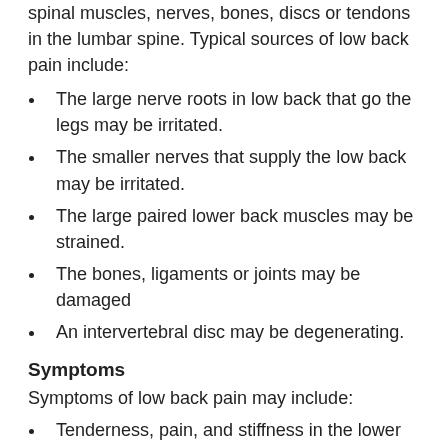spinal muscles, nerves, bones, discs or tendons in the lumbar spine. Typical sources of low back pain include:
The large nerve roots in low back that go the legs may be irritated.
The smaller nerves that supply the low back may be irritated.
The large paired lower back muscles may be strained.
The bones, ligaments or joints may be damaged
An intervertebral disc may be degenerating.
Symptoms
Symptoms of low back pain may include:
Tenderness, pain, and stiffness in the lower back
Pain that spreads into the buttocks or legs